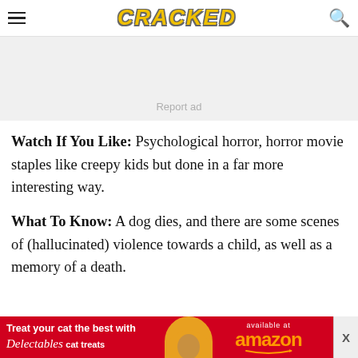CRACKED
[Figure (other): Advertisement placeholder box with 'Report ad' label]
Watch If You Like: Psychological horror, horror movie staples like creepy kids but done in a far more interesting way.
What To Know: A dog dies, and there are some scenes of (hallucinated) violence towards a child, as well as a memory of a death.
[Figure (other): Bottom banner advertisement: Treat your cat the best with Delectables cat treats, available at amazon]